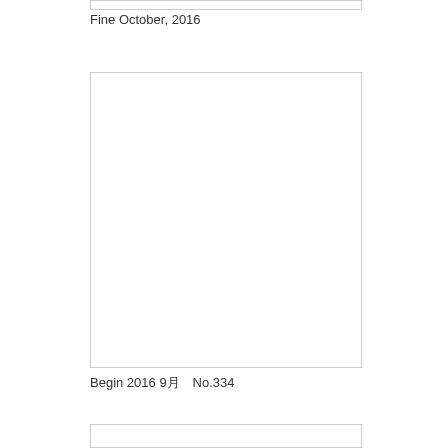Fine October, 2016
[Figure (other): Empty rectangular box placeholder image]
Begin 2016 9月　No.334